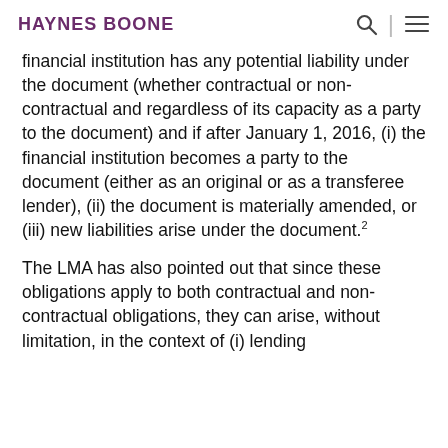HAYNES BOONE
financial institution has any potential liability under the document (whether contractual or non-contractual and regardless of its capacity as a party to the document) and if after January 1, 2016, (i) the financial institution becomes a party to the document (either as an original or as a transferee lender), (ii) the document is materially amended, or (iii) new liabilities arise under the document.²
The LMA has also pointed out that since these obligations apply to both contractual and non-contractual obligations, they can arise, without limitation, in the context of (i) lending